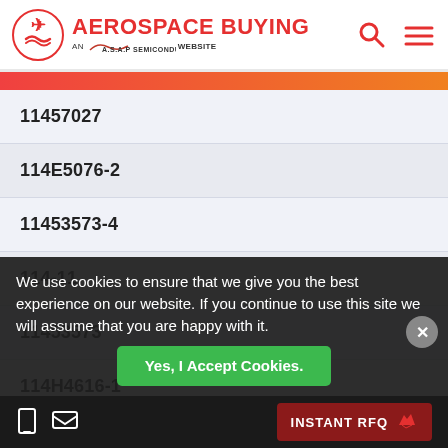[Figure (logo): Aerospace Buying logo - AN A.S.A.P Semiconductor Website with airplane icon]
11457027
114E5076-2
11453573-4
114-11
11453573
114H4616-1
11438029
114-176-0022
We use cookies to ensure that we give you the best experience on our website. If you continue to use this site we will assume that you are happy with it.
Yes, I Accept Cookies.
INSTANT RFQ